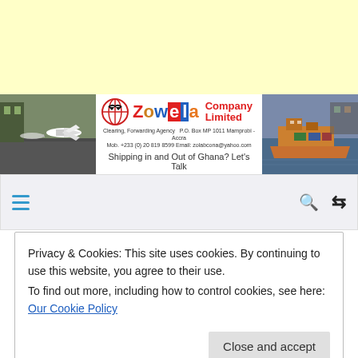[Figure (other): Yellow advertisement banner at top of page]
[Figure (logo): Zowela Company Limited logo banner with globe icon, company name in red and blue, subtitle 'Clearing, Forwarding Agency  P.O. Box MP 1011 Mamprobi - Accra  Mob. +233 (0) 20 819 8599 Email: zolabcona@yahoo.com', flanked by airport and shipping photos, slogan: Shipping in and Out of Ghana? Let's Talk]
[Figure (other): Navigation bar with blue hamburger menu icon on left, search and shuffle icons on right]
Privacy & Cookies: This site uses cookies. By continuing to use this website, you agree to their use.
To find out more, including how to control cookies, see here: Our Cookie Policy
Close and accept